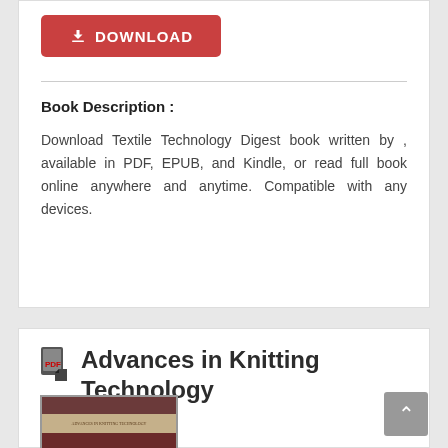[Figure (other): Red download button with download icon and text DOWNLOAD]
Book Description :
Download Textile Technology Digest book written by , available in PDF, EPUB, and Kindle, or read full book online anywhere and anytime. Compatible with any devices.
Advances in Knitting Technology
[Figure (photo): Book cover thumbnail for Advances in Knitting Technology with dark red and beige color scheme]
[Figure (other): Grey scroll-to-top button with upward arrow]